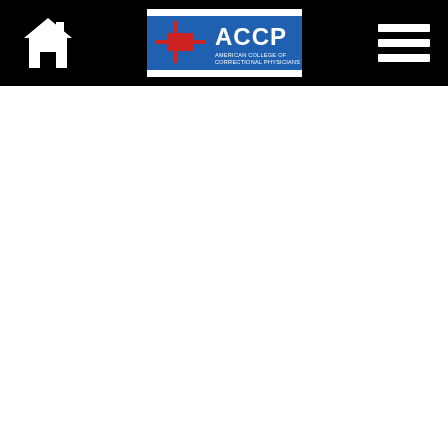[Figure (logo): ACCP American College of Correctional Physicians logo — blue background with red cross and white text, flanked by a white home icon on the left and a hamburger menu icon on the right, all on a black header bar]
[Figure (other): White blank body area below the header]